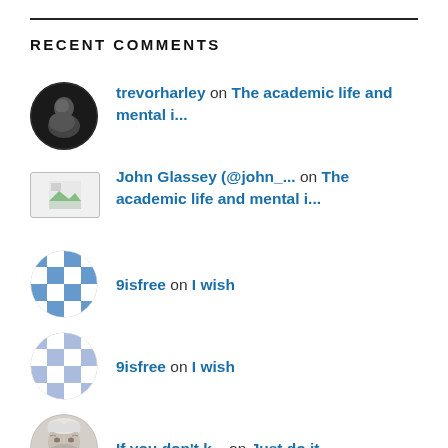RECENT COMMENTS
trevorharley on The academic life and mental i...
John Glassey (@john_... on The academic life and mental i...
9isfree on I wish
9isfree on I wish
If you don't k... on Just do it